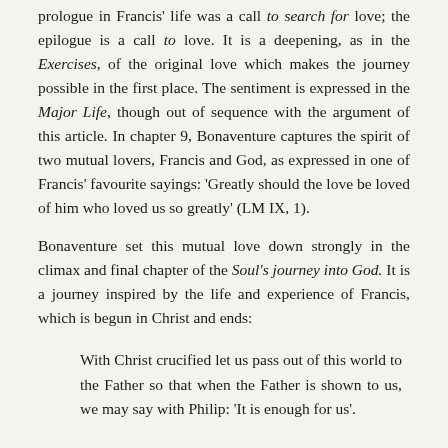prologue in Francis' life was a call to search for love; the epilogue is a call to love. It is a deepening, as in the Exercises, of the original love which makes the journey possible in the first place. The sentiment is expressed in the Major Life, though out of sequence with the argument of this article. In chapter 9, Bonaventure captures the spirit of two mutual lovers, Francis and God, as expressed in one of Francis' favourite sayings: 'Greatly should the love be loved of him who loved us so greatly' (LM IX, 1).
Bonaventure set this mutual love down strongly in the climax and final chapter of the Soul's journey into God. It is a journey inspired by the life and experience of Francis, which is begun in Christ and ends:
With Christ crucified let us pass out of this world to the Father so that when the Father is shown to us, we may say with Philip: 'It is enough for us'.